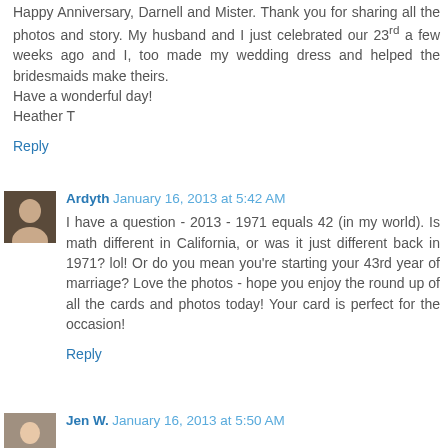Happy Anniversary, Darnell and Mister. Thank you for sharing all the photos and story. My husband and I just celebrated our 23rd a few weeks ago and I, too made my wedding dress and helped the bridesmaids make theirs.
Have a wonderful day!
Heather T
Reply
Ardyth  January 16, 2013 at 5:42 AM
I have a question - 2013 - 1971 equals 42 (in my world). Is math different in California, or was it just different back in 1971? lol! Or do you mean you're starting your 43rd year of marriage? Love the photos - hope you enjoy the round up of all the cards and photos today! Your card is perfect for the occasion!
Reply
Jen W.  January 16, 2013 at 5:50 AM